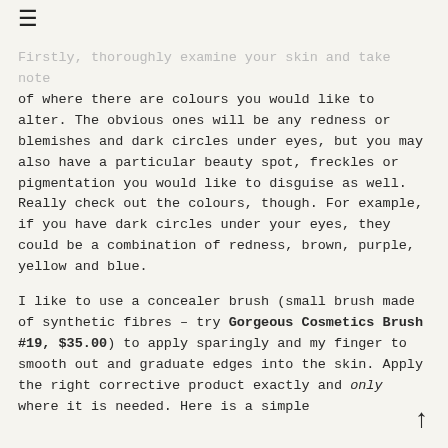≡
Firstly, thoroughly examine your skin and take note of where there are colours you would like to alter. The obvious ones will be any redness or blemishes and dark circles under eyes, but you may also have a particular beauty spot, freckles or pigmentation you would like to disguise as well. Really check out the colours, though. For example, if you have dark circles under your eyes, they could be a combination of redness, brown, purple, yellow and blue.
I like to use a concealer brush (small brush made of synthetic fibres – try Gorgeous Cosmetics Brush #19, $35.00) to apply sparingly and my finger to smooth out and graduate edges into the skin. Apply the right corrective product exactly and only where it is needed. Here is a simple